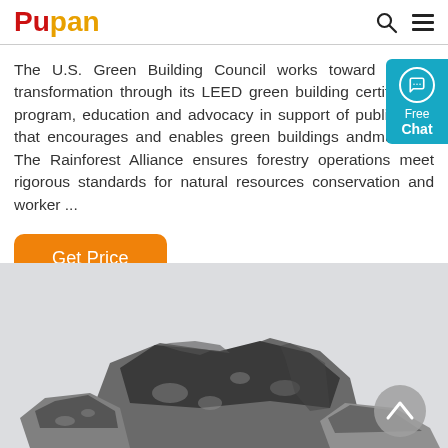Pupan
The U.S. Green Building Council works toward market transformation through its LEED green building certification program, education and advocacy in support of public policy that encourages and enables green buildings andmunities. The Rainforest Alliance ensures forestry operations meet rigorous standards for natural resources conservation and worker ...
Get Price
[Figure (photo): Photo of dark rocky mineral chunks (ore/stone) on a light gray background]